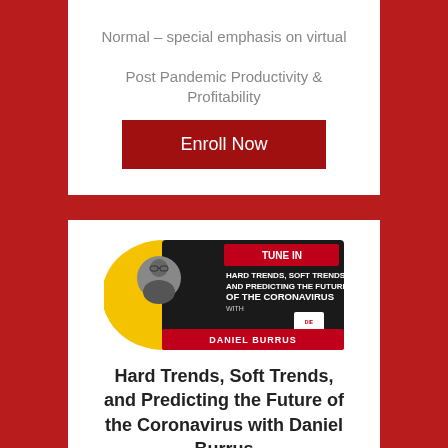Normal – special emphasis on virtual

Post Pandemic Productivity & Profitability
Enroll Now
[Figure (illustration): Podcast banner image with Daniel Burrus. Text reads: TUNE IN – Hard Trends, Soft Trends, and Predicting the Future of the Coronavirus with Daniel Burrus. Yellow background with a photo of the speaker on the left and black panel on the right with text.]
Hard Trends, Soft Trends, and Predicting the Future of the Coronavirus with Daniel Burrus